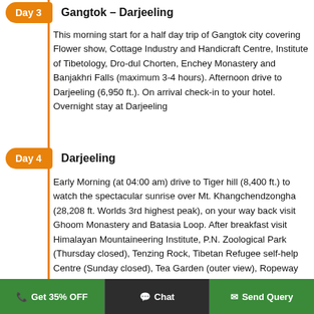Day 3  Gangtok – Darjeeling
This morning start for a half day trip of Gangtok city covering Flower show, Cottage Industry and Handicraft Centre, Institute of Tibetology, Dro-dul Chorten, Enchey Monastery and Banjakhri Falls (maximum 3-4 hours). Afternoon drive to Darjeeling (6,950 ft.). On arrival check-in to your hotel. Overnight stay at Darjeeling
Day 4  Darjeeling
Early Morning (at 04:00 am) drive to Tiger hill (8,400 ft.) to watch the spectacular sunrise over Mt. Khangchendzongha (28,208 ft. Worlds 3rd highest peak), on your way back visit Ghoom Monastery and Batasia Loop. After breakfast visit Himalayan Mountaineering Institute, P.N. Zoological Park (Thursday closed), Tenzing Rock, Tibetan Refugee self-help Centre (Sunday closed), Tea Garden (outer view), Ropeway and Japanese Temple. Evening free for shopping or leisure. Overnight stay at Darjeeling
Get 35% OFF  Chat  Send Query